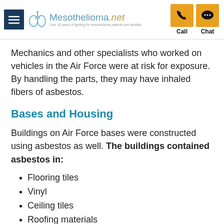Mesothelioma.net — Call | Chat
Mechanics and other specialists who worked on vehicles in the Air Force were at risk for exposure. By handling the parts, they may have inhaled fibers of asbestos.
Bases and Housing
Buildings on Air Force bases were constructed using asbestos as well. The buildings contained asbestos in:
Flooring tiles
Vinyl
Ceiling tiles
Roofing materials